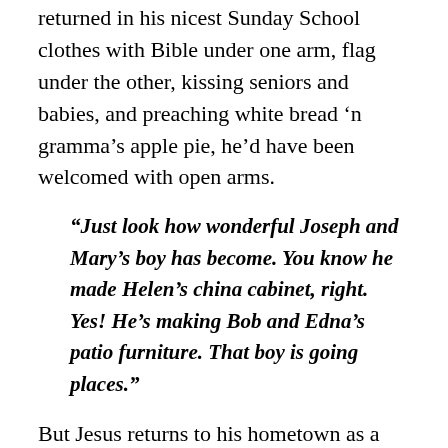returned in his nicest Sunday School clothes with Bible under one arm, flag under the other, kissing seniors and babies, and preaching white bread 'n gramma's apple pie, he'd have been welcomed with open arms.
“Just look how wonderful Joseph and Mary’s boy has become. You know he made Helen’s china cabinet, right. Yes! He’s making Bob and Edna’s patio furniture. That boy is going places.”
But Jesus returns to his hometown as a prophet. He’s been saying big things that don’t stay within the party line. He’s messing with convention. And, friends, let’s be honest, nothing spoils a